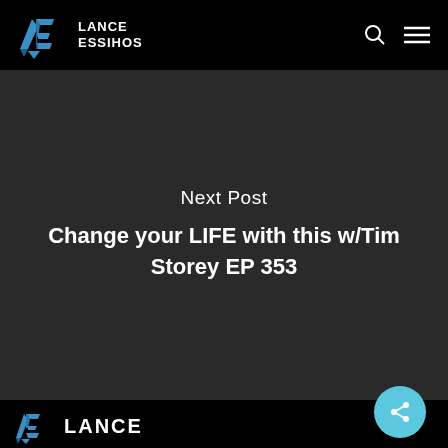LANCE ESSIHOS
Next Post
Change your LIFE with this w/Tim Storey EP 353
[Figure (logo): Lance Essihos LE geometric logo with blue angular shapes, bottom partial logo with LANCE text]